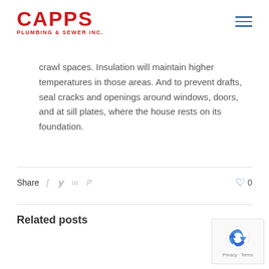CAPPS PLUMBING & SEWER INC.
crawl spaces. Insulation will maintain higher temperatures in those areas. And to prevent drafts, seal cracks and openings around windows, doors, and at sill plates, where the house rests on its foundation.
Share  f  y  in  P  ♡ 0
Related posts